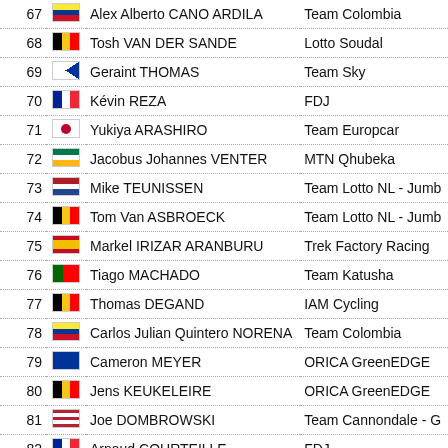| # | Flag | Name | Team |
| --- | --- | --- | --- |
| 67 |  | Alex Alberto CANO ARDILA | Team Colombia |
| 68 |  | Tosh VAN DER SANDE | Lotto Soudal |
| 69 |  | Geraint THOMAS | Team Sky |
| 70 |  | Kévin REZA | FDJ |
| 71 |  | Yukiya ARASHIRO | Team Europcar |
| 72 |  | Jacobus Johannes VENTER | MTN Qhubeka |
| 73 |  | Mike TEUNISSEN | Team Lotto NL - Jumbo |
| 74 |  | Tom Van ASBROECK | Team Lotto NL - Jumbo |
| 75 |  | Markel IRIZAR ARANBURU | Trek Factory Racing |
| 76 |  | Tiago MACHADO | Team Katusha |
| 77 |  | Thomas DEGAND | IAM Cycling |
| 78 |  | Carlos Julian Quintero NORENA | Team Colombia |
| 79 |  | Cameron MEYER | ORICA GreenEDGE |
| 80 |  | Jens KEUKELEIRE | ORICA GreenEDGE |
| 81 |  | Joe DOMBROWSKI | Team Cannondale - G |
| 82 |  | Arnaud COURTEILLE | FDJ |
| 83 |  | Jesper HANSEN | Tinkoff - Saxo |
| 84 |  | Giovanni VISCONTI | Movistar Team |
| 85 |  | José Joaquin ROJAS GIL | Movistar Team |
| 86 |  | Alex HOWES | Team Cannondale - G |
| 87 |  | Matteo MONTAGUTI | AG2R La Mondiale |
| 88 |  | Alessandro De MARCHI | BMC Racing Team |